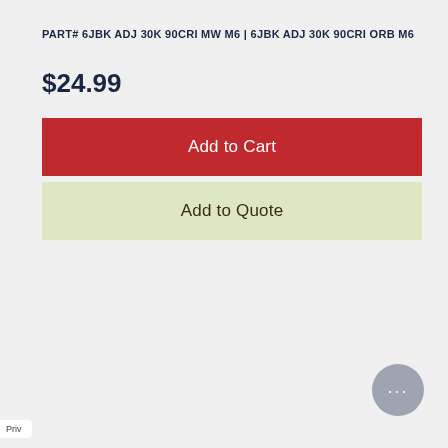PART# 6JBK ADJ 30K 90CRI MW M6 | 6JBK ADJ 30K 90CRI ORB M6
$24.99
Add to Cart
Add to Quote